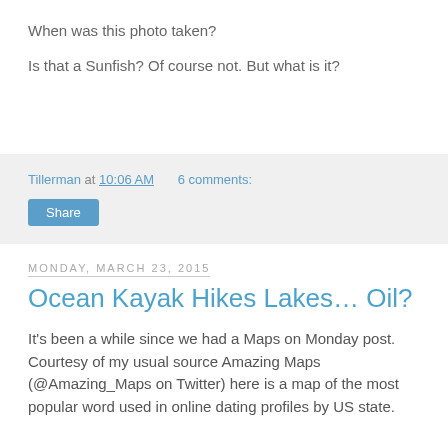When was this photo taken?
Is that a Sunfish? Of course not. But what is it?
Tillerman at 10:06 AM   6 comments:
Share
Monday, March 23, 2015
Ocean Kayak Hikes Lakes… Oil?
It's been a while since we had a Maps on Monday post. Courtesy of my usual source Amazing Maps (@Amazing_Maps on Twitter) here is a map of the most popular word used in online dating profiles by US state.